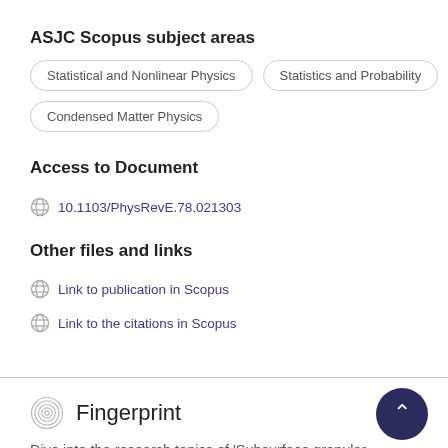ASJC Scopus subject areas
Statistical and Nonlinear Physics
Statistics and Probability
Condensed Matter Physics
Access to Document
10.1103/PhysRevE.78.021303
Other files and links
Link to publication in Scopus
Link to the citations in Scopus
Fingerprint
Dive into the research topics of 'Subsurface granular flow